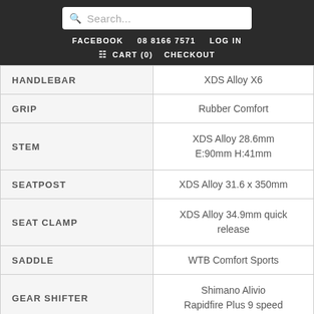Search... | FACEBOOK | 08 8166 7571 | LOG IN | CART (0) | CHECKOUT
| Component | Specification |
| --- | --- |
| HANDLEBAR | XDS Alloy X6 |
| GRIP | Rubber Comfort |
| STEM | XDS Alloy 28.6mm E:90mm H:41mm |
| SEATPOST | XDS Alloy 31.6 x 350mm |
| SEAT CLAMP | XDS Alloy 34.9mm quick release |
| SADDLE | WTB Comfort Sports |
| GEAR SHIFTER | Shimano Alivio Rapidfire Plus 9 speed |